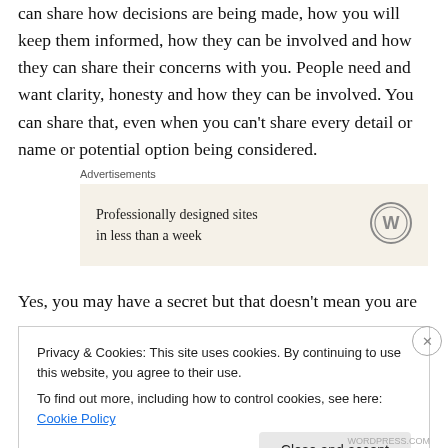can share how decisions are being made, how you will keep them informed, how they can be involved and how they can share their concerns with you. People need and want clarity, honesty and how they can be involved. You can share that, even when you can't share every detail or name or potential option being considered.
[Figure (other): Advertisement box with text 'Professionally designed sites in less than a week' and WordPress logo on a cream background]
Yes, you may have a secret but that doesn't mean you are
Privacy & Cookies: This site uses cookies. By continuing to use this website, you agree to their use.
To find out more, including how to control cookies, see here: Cookie Policy
WORDPRESS.COM